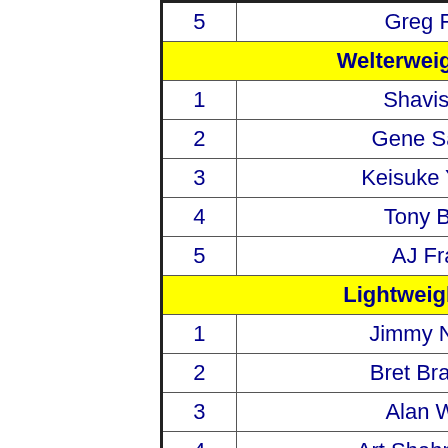| # | Name |
| --- | --- |
| 5 | Greg Ferrer |
| Welterweight |  |
| 1 | Shavis Higa |
| 2 | Gene Sanidad |
| 3 | Keisuke Yoshida |
| 4 | Tony Boone |
| 5 | AJ Frazier |
| Lightweight |  |
| 1 | Jimmy Nguyen |
| 2 | Bret Bradshaw |
| 3 | Alan Watari |
| 4 | Art Shahnazarian |
| 5 | Mitsuru Miyamoto |
| 6 | Billy Vickery |
| Bantamweight |  |
| 1 | Edward Mitchell |
| 2 | ... |